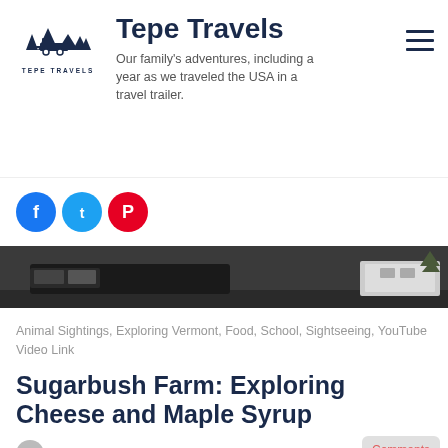Tepe Travels — Our family's adventures, including a year as we traveled the USA in a travel trailer.
[Figure (logo): Tepe Travels logo with camper/tree icon above text TEPE TRAVELS]
Animal Sightings, Exploring Vermont, Food, School, Sightseeing, YouTube Video Link
Sugarbush Farm: Exploring Cheese and Maple Syrup
Written by tepetravels  June 18, 2021  4 Comments
We only had a short stay in Vermont and the main